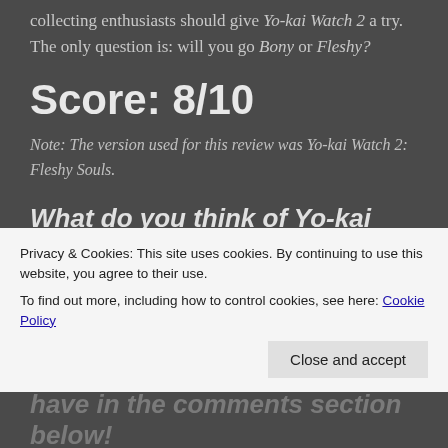collecting enthusiasts should give Yo-kai Watch 2 a try. The only question is: will you go Bony or Fleshy?
Score: 8/10
Note: The version used for this review was Yo-kai Watch 2: Fleshy Souls.
What do you think of Yo-kai Watch 2? Do you have any experience with the Yo-kai Watch
Privacy & Cookies: This site uses cookies. By continuing to use this website, you agree to their use. To find out more, including how to control cookies, see here: Cookie Policy
Close and accept
have in the comments section below!